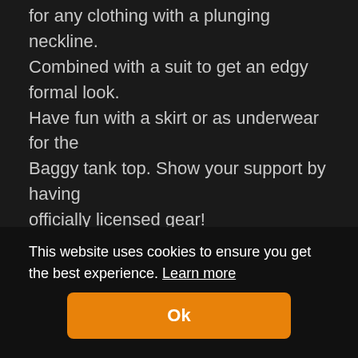for any clothing with a plunging neckline. Combined with a suit to get an edgy formal look. Have fun with a skirt or as underwear for the Baggy tank top. Show your support by having officially licensed gear!
Details:
Lightweight and flexible material - comfortable to wear
Super stylish - crop top with lasting print last for years
Quick-dry perfect for sport
Easy to care - Machine wash at 60°C
Material:
Polyester and spandex
This website uses cookies to ensure you get the best experience. Learn more